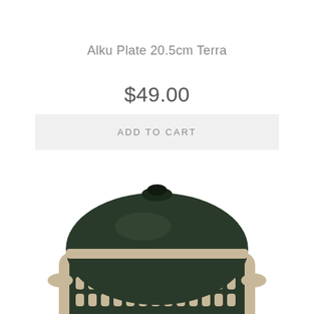Alku Plate 20.5cm Terra
$49.00
ADD TO CART
[Figure (photo): A dark green ceramic casserole dish with a rounded dome lid and small dark knob handle. The body of the dish features a grid pattern of dark green rounded rectangles on a beige/cream background. The dish has two small beige-colored side handles. Only the upper portion of the dish is visible, cropped at the bottom of the page.]